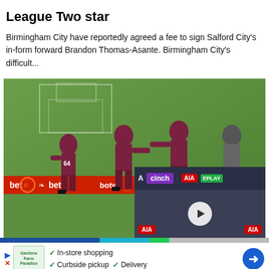League Two star
Birmingham City have reportedly agreed a fee to sign Salford City's in-form forward Brandon Thomas-Asante. Birmingham City's difficult...
[Figure (photo): Football players in dark maroon/claret jerseys on a pitch celebrating, with advertising hoardings showing 'bet' in red. An overlaid video thumbnail shows a press conference with AIA and cinch sponsor logos and a play button.]
In-store shopping   Curbside pickup   Delivery